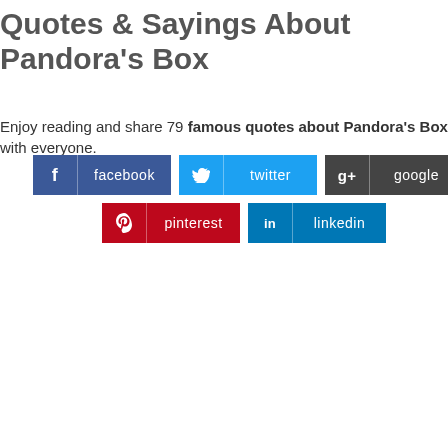Quotes & Sayings About Pandora's Box
Enjoy reading and share 79 famous quotes about Pandora's Box with everyone.
[Figure (infographic): Social media share buttons: facebook, twitter, google, pinterest, linkedin]